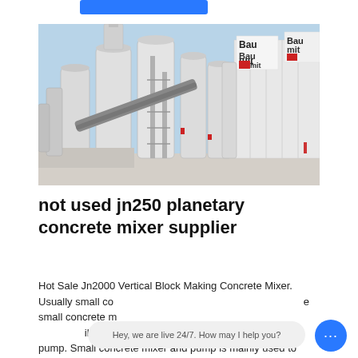[Figure (photo): Industrial concrete mixing plant with large white silos, conveyor belts, metal scaffolding, and Baumit branding signs on the building facade. Clear blue sky in background.]
not used jn250 planetary concrete mixer supplier
Hot Sale Jn2000 Vertical Block Making Concrete Mixer. Usually small concrete mixer and pump is mainly used for small concrete mixing and pumping. Small concrete mixer and pump is mainly used to
Hey, we are live 24/7. How may I help you?